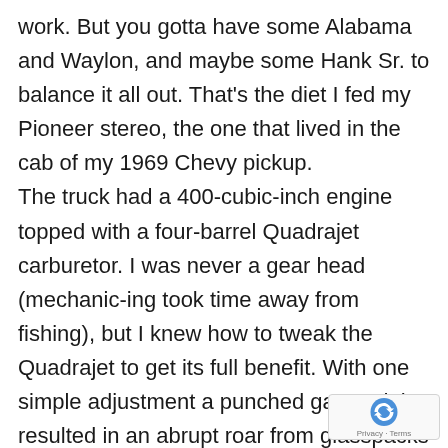work. But you gotta have some Alabama and Waylon, and maybe some Hank Sr. to balance it all out. That's the diet I fed my Pioneer stereo, the one that lived in the cab of my 1969 Chevy pickup. The truck had a 400-cubic-inch engine topped with a four-barrel Quadrajet carburetor. I was never a gear head (mechanic-ing took time away from fishing), but I knew how to tweak the Quadrajet to get its full benefit. With one simple adjustment a punched gas pedal resulted in an abrupt roar from glasspacks as twice the usual amount of fuel and air dumped into that small-block motor instantaneously.